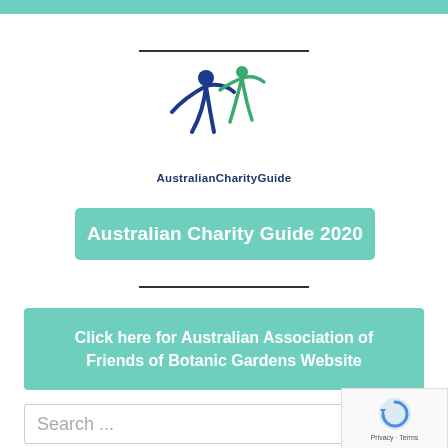[Figure (logo): AustralianCharityGuide logo with two stylized figures (blue and green) with raised arms, and text 'AustralianCharityGuide' below]
Australian Charity Guide 2020
Click here for Australian Association of Friends of Botanic Gardens Website
Search ...